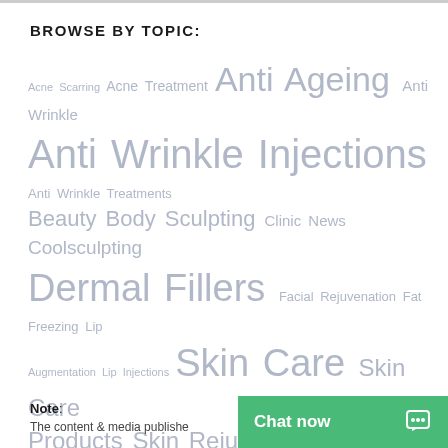BROWSE BY TOPIC:
Acne Scarring Acne Treatment Anti Ageing Anti Wrinkle Anti Wrinkle Injections Anti Wrinkle Treatments Beauty Body Sculpting Clinic News Coolsculpting Dermal Fillers Facial Rejuvenation Fat Freezing Lip Augmentation Lip Injections Skin Care Skin Care Products Skin Rejuvenation Skin Tightening Wrinkle Injections
Note:
The content & media publishe…